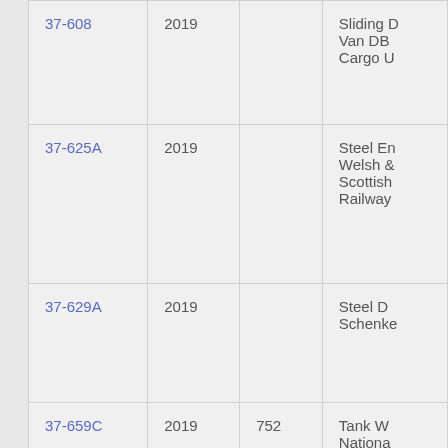| Code | Year | Number | Description |
| --- | --- | --- | --- |
| 37-608 | 2019 |  | Sliding D Van DB Cargo U |
| 37-625A | 2019 |  | Steel En Welsh & Scottish Railway |
| 37-629A | 2019 |  | Steel D Schenke |
| 37-659C | 2019 | 752 | Tank W Nationa Benzole Compan Limited |